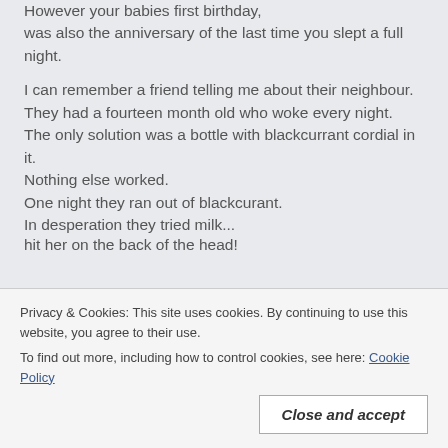However your babies first birthday, was also the anniversary of the last time you slept a full night.
I can remember a friend telling me about their neighbour. They had a fourteen month old who woke every night. The only solution was a bottle with blackcurrant cordial in it. Nothing else worked. One night they ran out of blackcurant. In desperation they tried milk...
hit her on the back of the head!
Privacy & Cookies: This site uses cookies. By continuing to use this website, you agree to their use. To find out more, including how to control cookies, see here: Cookie Policy